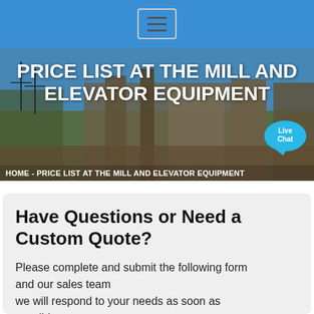[Figure (screenshot): Blue navigation bar with hamburger menu button (three horizontal lines) centered on a blue background]
[Figure (photo): Hero image showing an industrial mill or elevator equipment facility with steel structures against a blue sky. Bold white text overlay reads PRICE LIST AT THE MILL AND ELEVATOR EQUIPMENT. Breadcrumb bar below reads HOME - PRICE LIST AT THE MILL AND ELEVATOR EQUIPMENT. Live Chat speech bubble button in bottom right corner.]
Have Questions or Need a Custom Quote?
Please complete and submit the following form and our sales team we will respond to your needs as soon as possible.